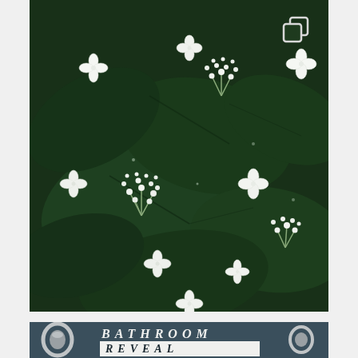[Figure (photo): Close-up photo of white hydrangea flowers with small white buds against dark green leaves. A copy/duplicate icon (two overlapping squares) appears in the upper right corner of the image.]
[Figure (photo): Partial photo showing a dark teal/slate background with decorative silver/chrome hardware and white text overlay reading 'BATHROOM REVEAL' in an elegant serif italic font.]